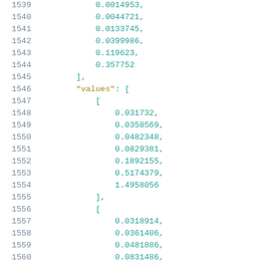Code listing lines 1539-1560 showing numeric array data with values keys
1539: 0.0014953,
1540: 0.0044721,
1541: 0.0133745,
1542: 0.0399986,
1543: 0.119623,
1544: 0.357752
1545: ],
1546: "values": [
1547: [
1548: 0.031732,
1549: 0.0358569,
1550: 0.0482348,
1551: 0.0829381,
1552: 0.1892155,
1553: 0.5174379,
1554: 1.4958056
1555: ],
1556: [
1557: 0.0318914,
1558: 0.0361406,
1559: 0.0481886,
1560: 0.0831486,